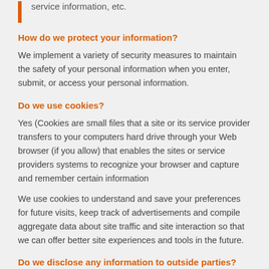service information, etc.
How do we protect your information?
We implement a variety of security measures to maintain the safety of your personal information when you enter, submit, or access your personal information.
Do we use cookies?
Yes (Cookies are small files that a site or its service provider transfers to your computers hard drive through your Web browser (if you allow) that enables the sites or service providers systems to recognize your browser and capture and remember certain information
We use cookies to understand and save your preferences for future visits, keep track of advertisements and compile aggregate data about site traffic and site interaction so that we can offer better site experiences and tools in the future.
Do we disclose any information to outside parties?
We do not sell, trade, or otherwise transfer to outside parties your